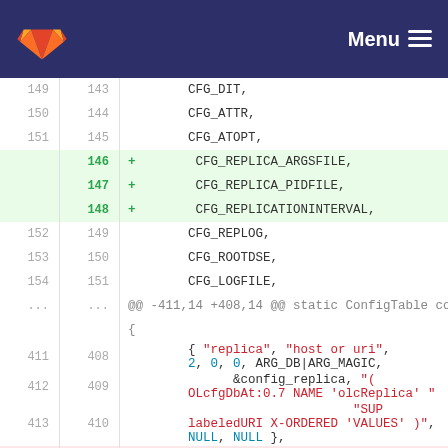Menu
[Figure (screenshot): GitLab code diff view showing additions of CFG_REPLICA_ARGSFILE, CFG_REPLICA_PIDFILE, CFG_REPLICATIONINTERVAL lines and surrounding config table code]
149 143 CFG_DIT,
150 144 CFG_ATTR,
151 145 CFG_ATOPT,
    146 + CFG_REPLICA_ARGSFILE,
    147 + CFG_REPLICA_PIDFILE,
    148 + CFG_REPLICATIONINTERVAL,
152 149 CFG_REPLOG,
153 150 CFG_ROOTDSE,
154 151 CFG_LOGFILE,
... ... @@ -411,14 +408,14 @@ static ConfigTable config_back_cf_table[] = {
411 408     { "replica", "host or uri", 2, 0, 0, ARG_DB|ARG_MAGIC,
412 409             &config_replica, "(OLcfgDbAt:0.7 NAME 'olcReplica' "
413 410                                 "SUP labeledURI X-ORDERED 'VALUES' )", NULL, NULL },
414     - { "replica-argsfile", NULL,